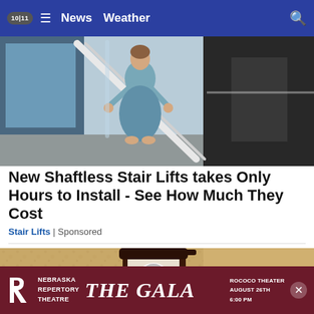10|11  ☰  News  Weather  🔍
[Figure (photo): Person in blue dress using a shaftless stair lift with curved rail]
New Shaftless Stair Lifts takes Only Hours to Install - See How Much They Cost
Stair Lifts | Sponsored
[Figure (photo): Close-up of an outdoor wall lantern light fixture mounted on a textured stucco wall]
[Figure (other): Nebraska Repertory Theatre advertisement banner: THE GALA, Rococo Theater, August 26th, 6:00 PM]